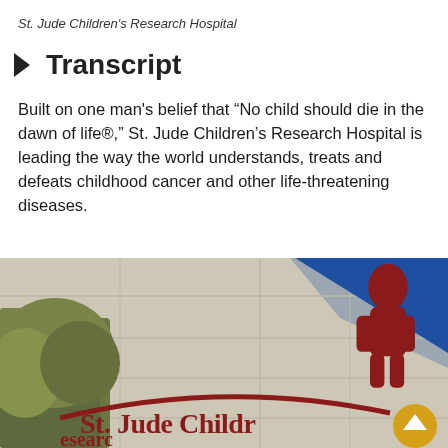St. Jude Children's Research Hospital
Transcript
Built on one man's belief that “No child should die in the dawn of life®,” St. Jude Children’s Research Hospital is leading the way the world understands, treats and defeats childhood cancer and other life-threatening diseases.
[Figure (photo): Photograph of the exterior of St. Jude Children's Research Hospital building showing the hospital logo with a red child silhouette and the text 'St. Jude Children's Research Hospital' in red lettering on a beige/tan wall, with trees and blue sky visible. A gold circular scroll-to-top button appears in the lower right corner.]